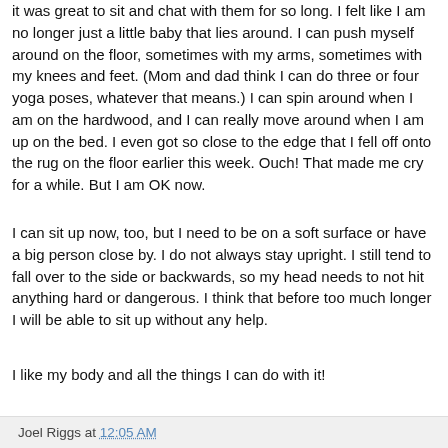it was great to sit and chat with them for so long. I felt like I am no longer just a little baby that lies around. I can push myself around on the floor, sometimes with my arms, sometimes with my knees and feet. (Mom and dad think I can do three or four yoga poses, whatever that means.) I can spin around when I am on the hardwood, and I can really move around when I am up on the bed. I even got so close to the edge that I fell off onto the rug on the floor earlier this week. Ouch! That made me cry for a while. But I am OK now.
I can sit up now, too, but I need to be on a soft surface or have a big person close by. I do not always stay upright. I still tend to fall over to the side or backwards, so my head needs to not hit anything hard or dangerous. I think that before too much longer I will be able to sit up without any help.
I like my body and all the things I can do with it!
Joel Riggs at 12:05 AM